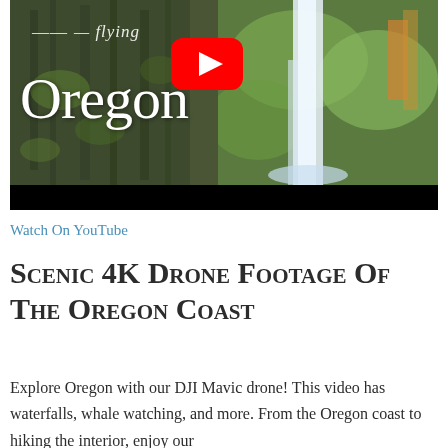[Figure (screenshot): YouTube video thumbnail showing scenic Oregon landscape with waterfall, green moss-covered rocks, and the text 'flying Oregon' with a YouTube play button overlay]
Watch On YouTube
Scenic 4K Drone Footage Of The Oregon Coast
Explore Oregon with our DJI Mavic drone! This video has waterfalls, whale watching, and more. From the Oregon coast to hiking the interior, enjoy our